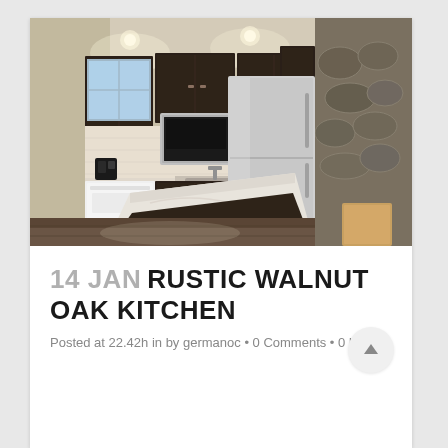[Figure (photo): Interior photo of a renovated kitchen with dark walnut/espresso cabinets, stainless steel appliances including a microwave, range, and large refrigerator, a white dishwasher, a kitchen island with white marble-pattern countertop, recessed lighting, and a stone accent wall on the right side.]
14 JAN RUSTIC WALNUT OAK KITCHEN
Posted at 22.42h in by germanoc • 0 Comments • 0 Likes •